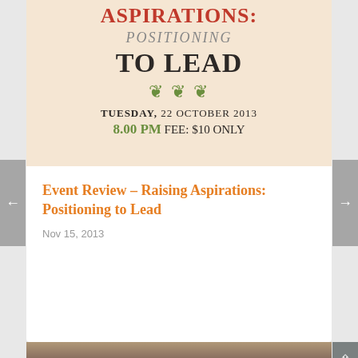[Figure (photo): Event poster for 'Raising Aspirations: Positioning to Lead' on beige/cream background, showing title text in red/gray/dark brown with green ornament, date Tuesday 22 October 2013, time 8.00 PM, fee $10 only]
Event Review – Raising Aspirations: Positioning to Lead
Nov 15, 2013
[Figure (photo): Photo of a man wearing a white turban and glasses, speaking or being interviewed, with flowers in background]